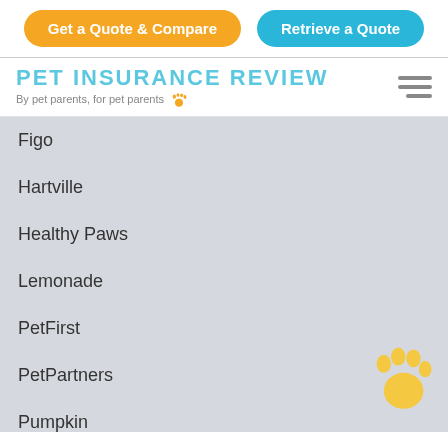[Figure (other): Two buttons: orange 'Get a Quote & Compare' and blue 'Retrieve a Quote']
[Figure (logo): Pet Insurance Review logo — blue text 'PET INSURANCE REVIEW' with tagline 'By pet parents, for pet parents' with paw emoji and hamburger menu icon]
Figo
Hartville
Healthy Paws
Lemonade
PetFirst
PetPartners
Pumpkin
Prudent Pet
Spot